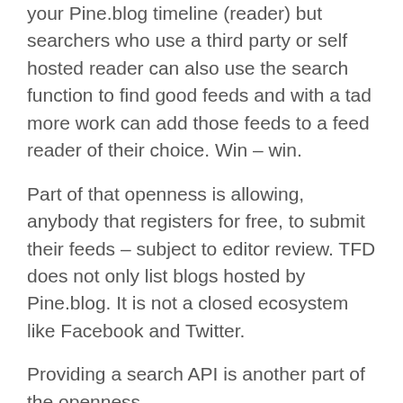your Pine.blog timeline (reader) but searchers who use a third party or self hosted reader can also use the search function to find good feeds and with a tad more work can add those feeds to a feed reader of their choice.  Win – win.
Part of that openness is allowing, anybody that registers for free, to submit their feeds – subject to editor review.  TFD does not only list blogs hosted by Pine.blog.  It is not a closed ecosystem like Facebook and Twitter.
Providing a search API is another part of the openness.
Not a Search Engine
TFD, even in it's early stages, is so slick you might